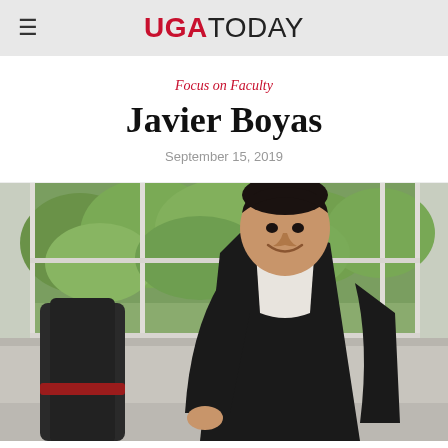UGA TODAY
Focus on Faculty
Javier Boyas
September 15, 2019
[Figure (photo): Portrait photo of Javier Boyas, a man in a dark blazer and white shirt, smiling, seated in an office with large windows showing green trees outside.]